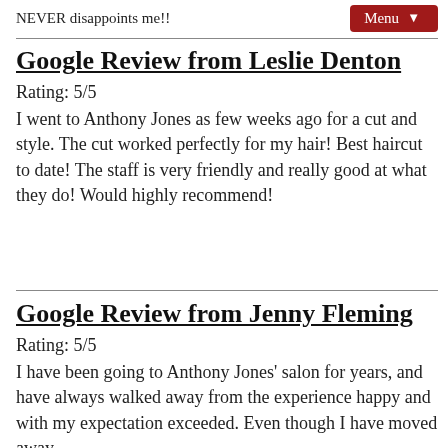NEVER disappoints me!!
Google Review from Leslie Denton
Rating: 5/5
I went to Anthony Jones as few weeks ago for a cut and style. The cut worked perfectly for my hair! Best haircut to date! The staff is very friendly and really good at what they do! Would highly recommend!
Google Review from Jenny Fleming
Rating: 5/5
I have been going to Anthony Jones' salon for years, and have always walked away from the experience happy and with my expectation exceeded. Even though I have moved away